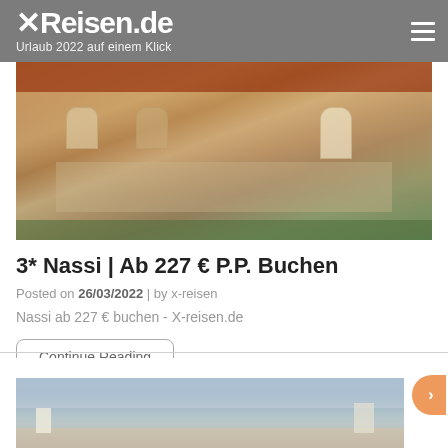XReisen.de – Urlaub 2022 auf einem Klick
[Figure (photo): Aerial/elevated view of a hotel building with terracotta roof tiles and beige facade with balconies]
3* Nassi | Ab 227 € P.P. Buchen
Posted on 26/03/2022  |  by x-reisen
Nassi ab 227 € buchen - X-reisen.de
Continue Reading
[Figure (photo): Hotel pool area with sun loungers and sea/ocean view in the background under cloudy sky]